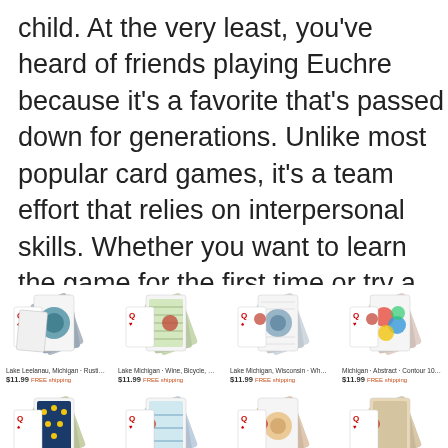child. At the very least, you've heard of friends playing Euchre because it's a favorite that's passed down for generations. Unlike most popular card games, it's a team effort that relies on interpersonal skills. Whether you want to learn the game for the first time or try a new Euchre strategy, we've put together everything that you need to know.
[Figure (photo): Grid of playing card product listings showing 4 columns x 2 partial rows of Euchre card decks with Michigan/Lake themed designs. Each shows a fan of playing cards with a price of $11.99 and free shipping label.]
Lake Leelanau, Michigan - Rustic Loon -... $11.99 FREE shipping
Lake Michigan - Wine, Bicycle, Deer, Ka... $11.99 FREE shipping
Lake Michigan, Wisconsin - Where Lake... $11.99 FREE shipping
Michigan - Abstract - Contour 109533... $11.99 FREE shipping